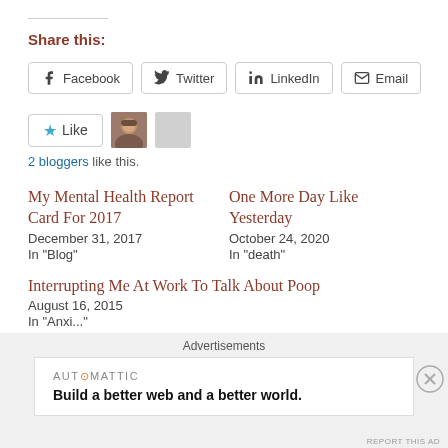REPORT THIS AD
Share this:
Facebook  Twitter  LinkedIn  Email
Like  [avatar]  [avatar-placeholder]
2 bloggers like this.
My Mental Health Report Card For 2017
December 31, 2017
In "Blog"
One More Day Like Yesterday
October 24, 2020
In "death"
Interrupting Me At Work To Talk About Poop
August 16, 2015
In "Anxi..."
Advertisements
AUT⊙MATTIC
Build a better web and a better world.
REPORT THIS AD